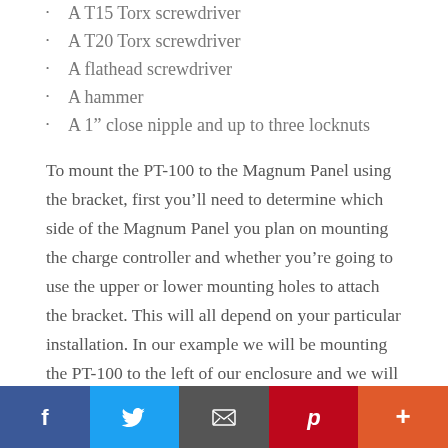A T15 Torx screwdriver
A T20 Torx screwdriver
A flathead screwdriver
A hammer
A 1” close nipple and up to three locknuts
To mount the PT-100 to the Magnum Panel using the bracket, first you’ll need to determine which side of the Magnum Panel you plan on mounting the charge controller and whether you’re going to use the upper or lower mounting holes to attach the bracket. This will all depend on your particular installation. In our example we will be mounting the PT-100 to the left of our enclosure and we will be using the upper mounting holes.
The PT-100 uses the uppermost mounting hole on the bracket, so we will pre-thread that hole using one of the
[Figure (other): Social media share bar with Facebook, Twitter, Email, Pinterest, and More buttons]